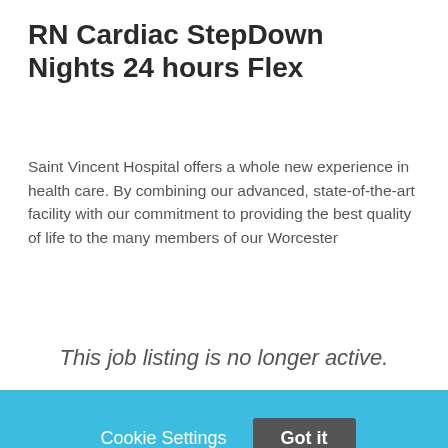RN Cardiac StepDown Nights 24 hours Flex
Saint Vincent Hospital offers a whole new experience in health care. By combining our advanced, state-of-the-art facility with our commitment to providing the best quality of life to the many members of our Worcester
This job listing is no longer active.
Cookie Settings
Got it
We use cookies so that we can remember you and understand how you use our site. If you do not agree with our use of cookies, please change the current settings found in our Cookie Policy. Otherwise, you agree to the use of the cookies as they are currently set.